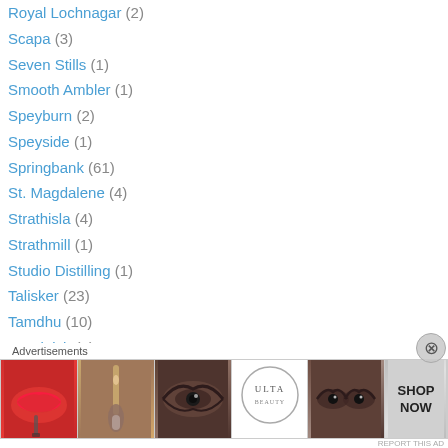Royal Lochnagar (2)
Scapa (3)
Seven Stills (1)
Smooth Ambler (1)
Speyburn (2)
Speyside (1)
Springbank (61)
St. Magdalene (4)
Strathisla (4)
Strathmill (1)
Studio Distilling (1)
Talisker (23)
Tamdhu (10)
Teaninich (7)
Teeling (1)
Tobermory (31)
Tom's Foolery (1)
[Figure (infographic): Ulta Beauty advertisement banner with makeup imagery including lips, brush, eye, ULTA logo, eyes, and SHOP NOW button]
Advertisements